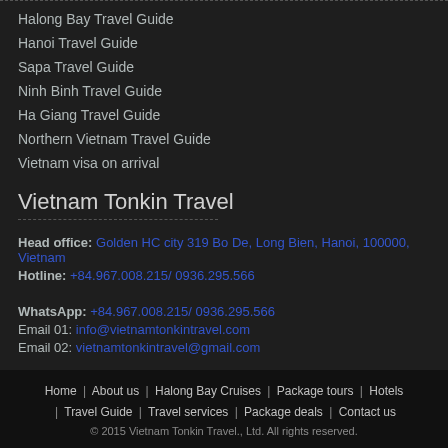Halong Bay Travel Guide
Hanoi Travel Guide
Sapa Travel Guide
Ninh Binh Travel Guide
Ha Giang Travel Guide
Northern Vietnam Travel Guide
Vietnam visa on arrival
Vietnam Tonkin Travel
Head office: Golden HC city 319 Bo De, Long Bien, Hanoi, 100000, Vietnam
Hotline: +84.967.008.215/ 0936.295.566
WhatsApp: +84.967.008.215/ 0936.295.566
Email 01: info@vietnamtonkintravel.com
Email 02: vietnamtonkintravel@gmail.com
Home | About us | Halong Bay Cruises | Package tours | Hotels | Travel Guide | Travel services | Package deals | Contact us
© 2015 Vietnam Tonkin Travel., Ltd. All rights reserved.